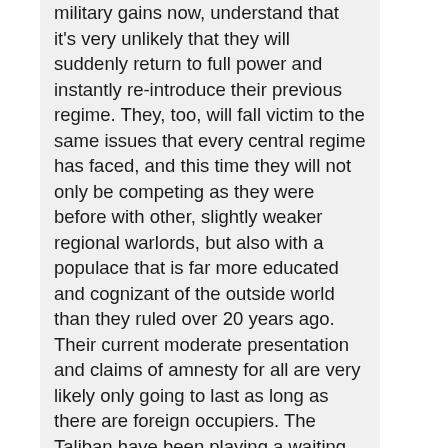military gains now, understand that it's very unlikely that they will suddenly return to full power and instantly re-introduce their previous regime. They, too, will fall victim to the same issues that every central regime has faced, and this time they will not only be competing as they were before with other, slightly weaker regional warlords, but also with a populace that is far more educated and cognizant of the outside world than they ruled over 20 years ago. Their current moderate presentation and claims of amnesty for all are very likely only going to last as long as there are foreign occupiers. The Taliban have been playing a waiting